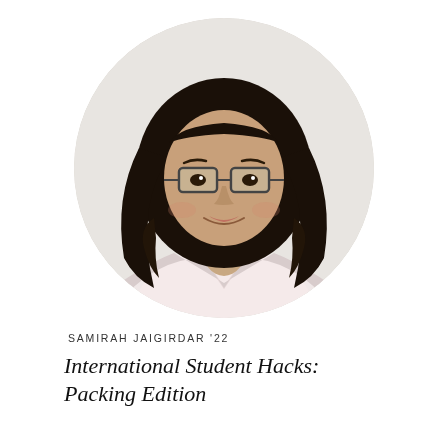[Figure (photo): Circular cropped headshot photo of a young woman with long dark hair and glasses, wearing a light pink collared shirt, smiling, against a light gray background.]
SAMIRAH JAIGIRDAR '22
International Student Hacks: Packing Edition